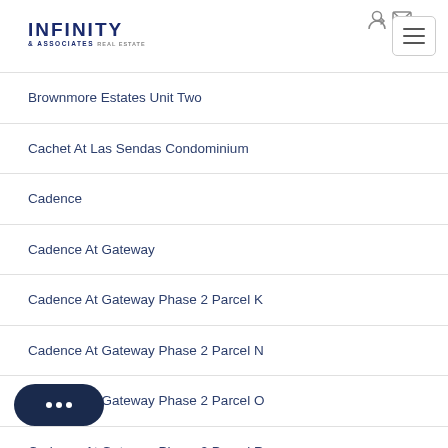[Figure (logo): Infinity & Associates Real Estate logo with hamburger menu button and header icons]
Brownmore Estates Unit Two
Cachet At Las Sendas Condominium
Cadence
Cadence At Gateway
Cadence At Gateway Phase 2 Parcel K
Cadence At Gateway Phase 2 Parcel N
Cadence At Gateway Phase 2 Parcel O
Cadence At Gateway Phase 2 Parcel R